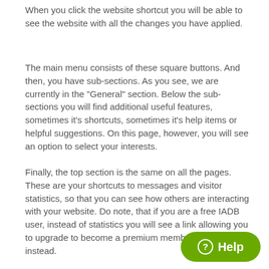When you click the website shortcut you will be able to see the website with all the changes you have applied.
The main menu consists of these square buttons. And then, you have sub-sections. As you see, we are currently in the "General" section. Below the sub-sections you will find additional useful features, sometimes it's shortcuts, sometimes it's help items or helpful suggestions. On this page, however, you will see an option to select your interests.
Finally, the top section is the same on all the pages. These are your shortcuts to messages and visitor statistics, so that you can see how others are interacting with your website. Do note, that if you are a free IADB user, instead of statistics you will see a link allowing you to upgrade to become a premium member of IADB instead.
[Figure (other): Green rounded button with question mark circle icon and bold white text reading 'Help']